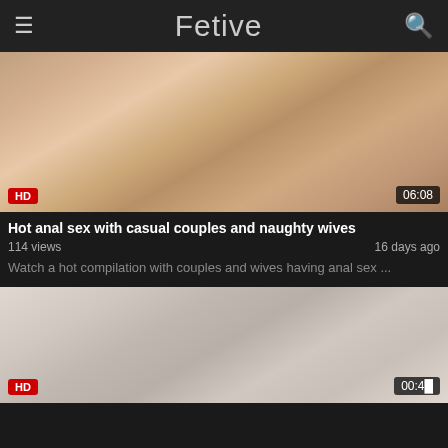Fetive
[Figure (screenshot): Video thumbnail showing explicit adult content with HD badge and 06:08 duration]
Hot anal sex with casual couples and naughty wives
114 views   16 days ago
Watch a hot compilation with couples and wives having anal sex ...
[Figure (screenshot): Second video thumbnail showing adult content with HD badge and duration partially visible]